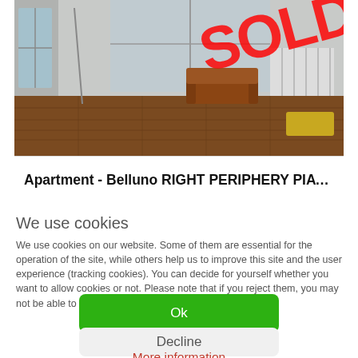[Figure (photo): Interior photo of an apartment living room with hardwood floors, an armchair, and a radiator. A red 'SOLD' watermark is overlaid diagonally in the top-right area.]
Apartment - Belluno RIGHT PERIPHERY PIAVE WEST …
We use cookies
We use cookies on our website. Some of them are essential for the operation of the site, while others help us to improve this site and the user experience (tracking cookies). You can decide for yourself whether you want to allow cookies or not. Please note that if you reject them, you may not be able to use all the functionalities of the site.
Ok
Decline
More information